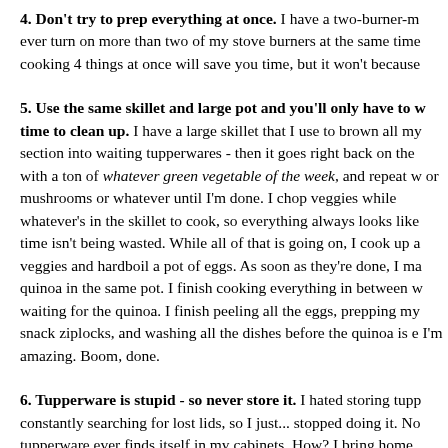4. Don't try to prep everything at once. I have a two-burner-m ever turn on more than two of my stove burners at the same time cooking 4 things at once will save you time, but it won't because
5. Use the same skillet and large pot and you'll only have to w time to clean up. I have a large skillet that I use to brown all my section into waiting tupperwares - then it goes right back on the with a ton of whatever green vegetable of the week, and repeat w or mushrooms or whatever until I'm done. I chop veggies while whatever's in the skillet to cook, so everything always looks like time isn't being wasted. While all of that is going on, I cook up a veggies and hardboil a pot of eggs. As soon as they're done, I ma quinoa in the same pot. I finish cooking everything in between w waiting for the quinoa. I finish peeling all the eggs, prepping my snack ziplocks, and washing all the dishes before the quinoa is e I'm amazing. Boom, done.
6. Tupperware is stupid - so never store it. I hated storing tupp constantly searching for lost lids, so I just... stopped doing it. No tupperware ever finds itself in my cabinets. How? I bring home tupperware on Friday when I come home from work and throw